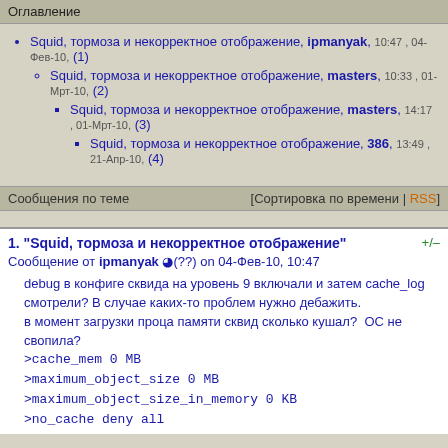Оглавление
Squid, тормоза и некорректное отображение, ipmanyak, 10:47 , 04-Фев-10, (1)
Squid, тормоза и некорректное отображение, masters, 10:33 , 01-Мрт-10, (2)
Squid, тормоза и некорректное отображение, masters, 14:17 , 01-Мрт-10, (3)
Squid, тормоза и некорректное отображение, 386, 13:49 , 21-Апр-10, (4)
Сообщения по теме [Сортировка по времени | RSS]
1. "Squid, тормоза и некорректное отображение"
Сообщение от ipmanyak (??) on 04-Фев-10, 10:47
debug в конфиге сквида на уровень 9 включали и затем cache_log смотрели? В случае каких-то проблем нужно дебажить.
в момент загрузки проца памяти сквид сколько кушал?  ОС не свопила?
>cache_mem 0 MB
>maximum_object_size 0 MB
>maximum_object_size_in_memory 0 KB
>no_cache deny all